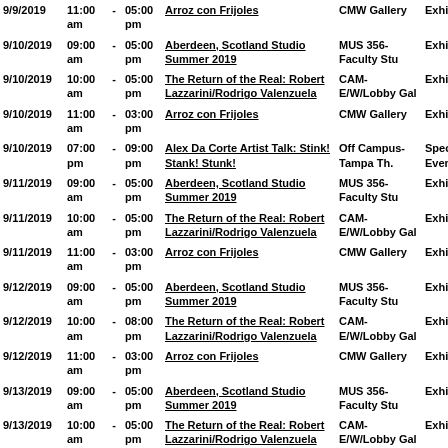| Date | Start |  | End | Event | Location | Type |
| --- | --- | --- | --- | --- | --- | --- |
| 9/9/2019 | 11:00 am | - | 05:00 pm | Arroz con Frijoles | CMW Gallery | Exhibition |
| 9/10/2019 | 09:00 am | - | 05:00 pm | Aberdeen, Scotland Studio Summer 2019 | MUS 356-Faculty Stu | Exhibition |
| 9/10/2019 | 10:00 am | - | 05:00 pm | The Return of the Real: Robert Lazzarini/Rodrigo Valenzuela | CAM-E/W/Lobby Gal | Exhibition |
| 9/10/2019 | 11:00 am | - | 03:00 pm | Arroz con Frijoles | CMW Gallery | Exhibition |
| 9/10/2019 | 07:00 pm | - | 09:00 pm | Alex Da Corte Artist Talk: Stink! Stank! Stunk! | Off Campus-Tampa Th. | Special Event |
| 9/11/2019 | 09:00 am | - | 05:00 pm | Aberdeen, Scotland Studio Summer 2019 | MUS 356-Faculty Stu | Exhibition |
| 9/11/2019 | 10:00 am | - | 05:00 pm | The Return of the Real: Robert Lazzarini/Rodrigo Valenzuela | CAM-E/W/Lobby Gal | Exhibition |
| 9/11/2019 | 11:00 am | - | 03:00 pm | Arroz con Frijoles | CMW Gallery | Exhibition |
| 9/12/2019 | 09:00 am | - | 05:00 pm | Aberdeen, Scotland Studio Summer 2019 | MUS 356-Faculty Stu | Exhibition |
| 9/12/2019 | 10:00 am | - | 08:00 pm | The Return of the Real: Robert Lazzarini/Rodrigo Valenzuela | CAM-E/W/Lobby Gal | Exhibition |
| 9/12/2019 | 11:00 am | - | 03:00 pm | Arroz con Frijoles | CMW Gallery | Exhibition |
| 9/13/2019 | 09:00 am | - | 05:00 pm | Aberdeen, Scotland Studio Summer 2019 | MUS 356-Faculty Stu | Exhibition |
| 9/13/2019 | 10:00 am | - | 05:00 pm | The Return of the Real: Robert Lazzarini/Rodrigo Valenzuela | CAM-E/W/Lobby Gal | Exhibition |
| 9/13/2019 | 07:00 pm | - | 09:00 pm | Arroz con Frijoles Reception | CMW Gallery | Reception |